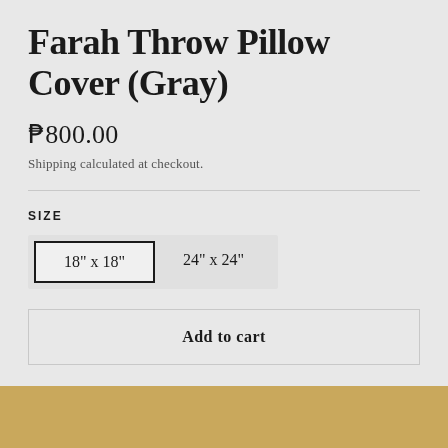Farah Throw Pillow Cover (Gray)
₱800.00
Shipping calculated at checkout.
SIZE
18" x 18"
24" x 24"
Add to cart